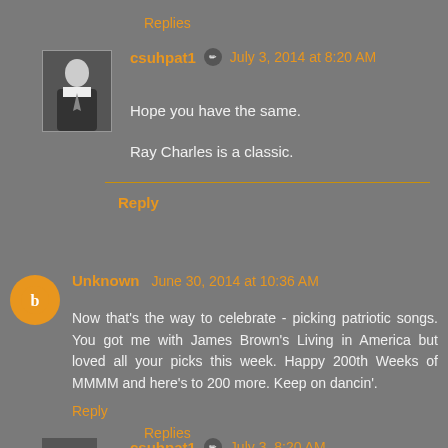Replies
csuhpat1  July 3, 2014 at 8:20 AM
Hope you have the same.

Ray Charles is a classic.
Reply
Unknown  June 30, 2014 at 10:36 AM
Now that's the way to celebrate - picking patriotic songs. You got me with James Brown's Living in America but loved all your picks this week. Happy 200th Weeks of MMMM and here's to 200 more. Keep on dancin'.
Reply
Replies
csuhpat1  July 3, 8:20 AM